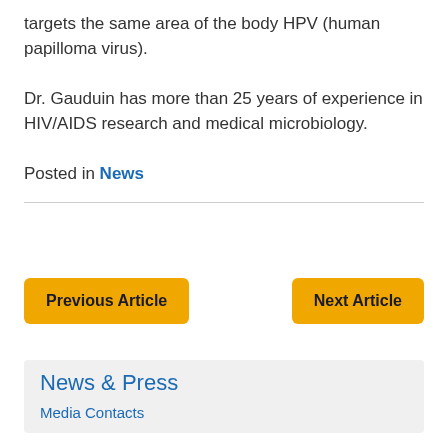targets the same area of the body HPV (human papilloma virus).
Dr. Gauduin has more than 25 years of experience in HIV/AIDS research and medical microbiology.
Posted in News
Previous Article
Next Article
News & Press
Media Contacts